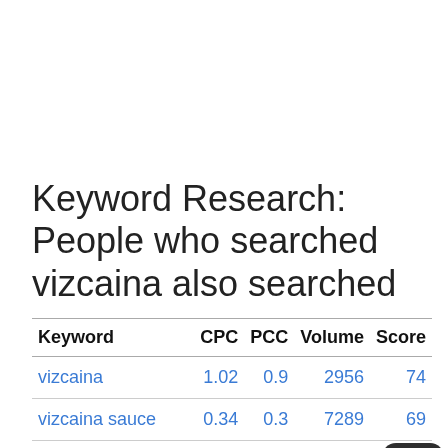Keyword Research: People who searched vizcaina also searched
| Keyword | CPC | PCC | Volume | Score |
| --- | --- | --- | --- | --- |
| vizcaina | 1.02 | 0.9 | 2956 | 74 |
| vizcaina sauce | 0.34 | 0.3 | 7289 | 69 |
| vizcainas salon | 1.41 | 0.5 | 5293 |  |
| vizcaina de industria y comercio | 0.18 | 0.6 | 2183 | 58 |